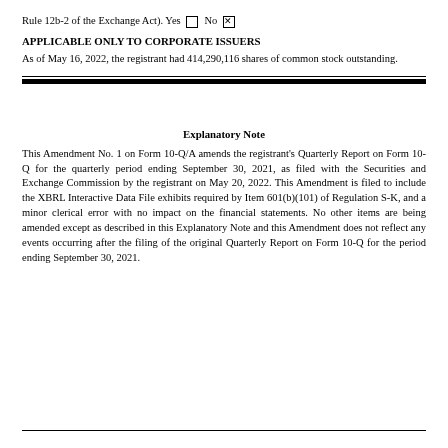Rule 12b-2 of the Exchange Act). Yes ☐ No ☒
APPLICABLE ONLY TO CORPORATE ISSUERS
As of May 16, 2022, the registrant had 414,290,116 shares of common stock outstanding.
Explanatory Note
This Amendment No. 1 on Form 10-Q/A amends the registrant's Quarterly Report on Form 10-Q for the quarterly period ending September 30, 2021, as filed with the Securities and Exchange Commission by the registrant on May 20, 2022. This Amendment is filed to include the XBRL Interactive Data File exhibits required by Item 601(b)(101) of Regulation S-K, and a minor clerical error with no impact on the financial statements. No other items are being amended except as described in this Explanatory Note and this Amendment does not reflect any events occurring after the filing of the original Quarterly Report on Form 10-Q for the period ending September 30, 2021.